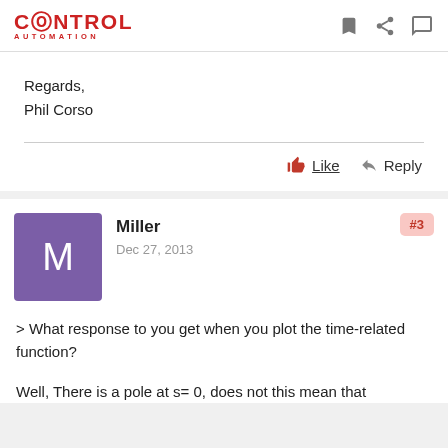CONTROL AUTOMATION
Regards,
Phil Corso
Like  Reply
Miller
Dec 27, 2013
#3
> What response to you get when you plot the time-related function?
Well, There is a pole at s= 0, does not this mean that